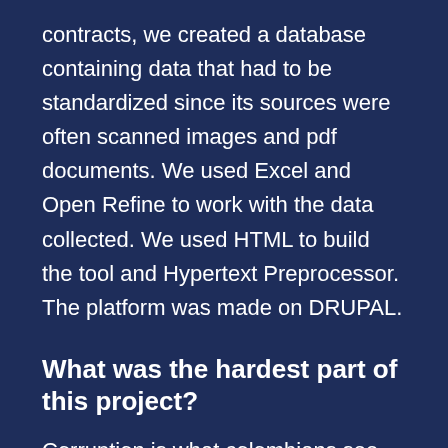contracts, we created a database containing data that had to be standardized since its sources were often scanned images and pdf documents. We used Excel and Open Refine to work with the data collected. We used HTML to build the tool and Hypertext Preprocessor. The platform was made on DRUPAL.
What was the hardest part of this project?
Corruption is what colombians see as their biggest problem nowadays. Information about